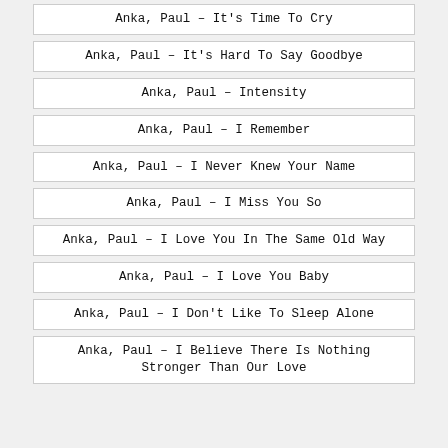Anka, Paul – It's Time To Cry
Anka, Paul – It's Hard To Say Goodbye
Anka, Paul – Intensity
Anka, Paul – I Remember
Anka, Paul – I Never Knew Your Name
Anka, Paul – I Miss You So
Anka, Paul – I Love You In The Same Old Way
Anka, Paul – I Love You Baby
Anka, Paul – I Don't Like To Sleep Alone
Anka, Paul – I Believe There Is Nothing Stronger Than Our Love